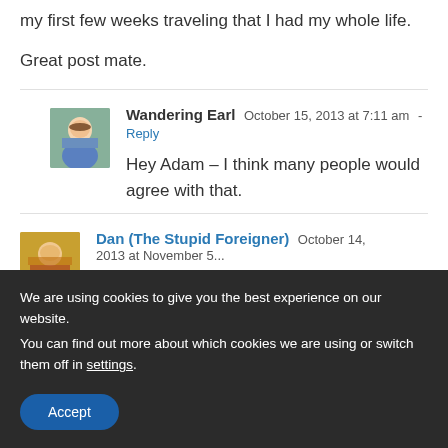my first few weeks traveling that I had my whole life.
Great post mate.
Wandering Earl  October 15, 2013 at 7:11 am - Reply
Hey Adam – I think many people would agree with that.
Dan (The Stupid Foreigner)  October 14, 2013 ...
We are using cookies to give you the best experience on our website.
You can find out more about which cookies we are using or switch them off in settings.
Accept